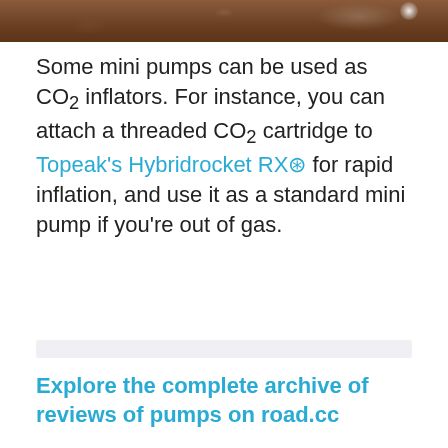[Figure (photo): Partial top image showing a rocky/outdoor terrain scene, appears to be a cropped photograph with reddish-brown earthy tones and a bright spot in the upper right.]
Some mini pumps can be used as CO2 inflators. For instance, you can attach a threaded CO2 cartridge to Topeak's Hybridrocket RX for rapid inflation, and use it as a standard mini pump if you're out of gas.
[Figure (other): Light gray horizontal bar, likely a placeholder or advertisement area.]
Explore the complete archive of reviews of pumps on road.cc